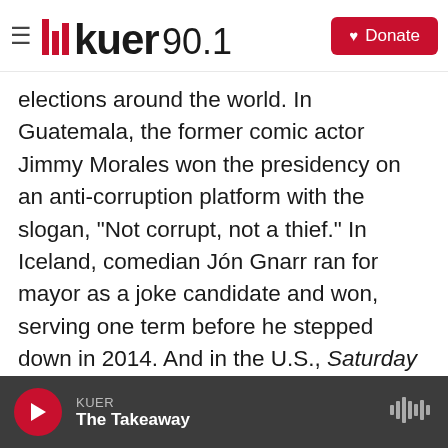KUER 90.1 | Donate
elections around the world. In Guatemala, the former comic actor Jimmy Morales won the presidency on an anti-corruption platform with the slogan, "Not corrupt, not a thief." In Iceland, comedian Jón Gnarr ran for mayor as a joke candidate and won, serving one term before he stepped down in 2014. And in the U.S., Saturday Night Live comedian Al Franken became a senator from Minnesota.
In the show Servant of the People, Zelenskiy's television character became president after an expletive-laden video of him ranting about
KUER | The Takeaway